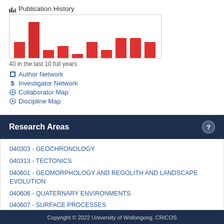[Figure (bar-chart): Publication History]
40 in the last 10 full years
Author Network
Investigator Network
Collaborator Map
Discipline Map
Research Areas
040303 - GEOCHRONOLOGY
040313 - TECTONICS
040601 - GEOMORPHOLOGY AND REGOLITH AND LANDSCAPE EVOLUTION
040606 - QUATERNARY ENVIRONMENTS
040607 - SURFACE PROCESSES
Copyright © 2022 University of Wollongong. CRICOS